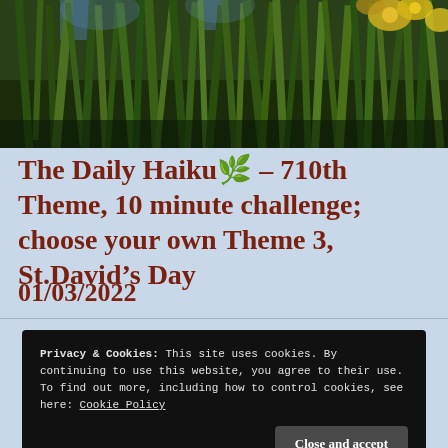[Figure (photo): Photograph of garden plants — tall green iris or daffodil leaves with yellow flowers visible at the right edge, taken in bright sunlight]
The Daily Haiku🌿 – 710th Theme, 10 minute challenge; choose your own Theme 3, St.David's Day
01/03/2022
Privacy & Cookies: This site uses cookies. By continuing to use this website, you agree to their use.
To find out more, including how to control cookies, see here: Cookie Policy